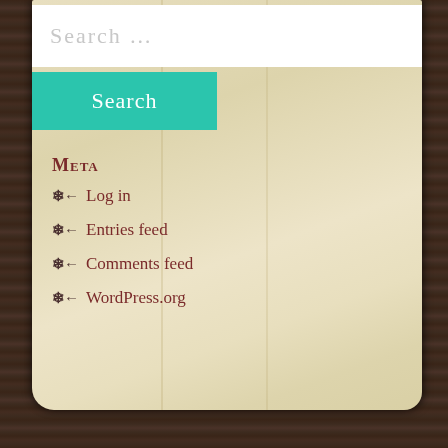Search …
Search
Meta
Log in
Entries feed
Comments feed
WordPress.org